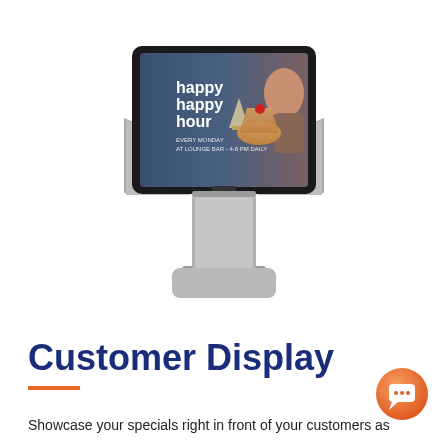[Figure (photo): A tablet device mounted on a stand showing a 'happy happy hour' promotional display with cocktail drinks and a woman in the background. The device is a dual-screen POS terminal with a gray stand.]
Customer Display
Showcase your specials right in front of your customers as
[Figure (illustration): Orange circular chat bubble icon in the bottom-right corner]